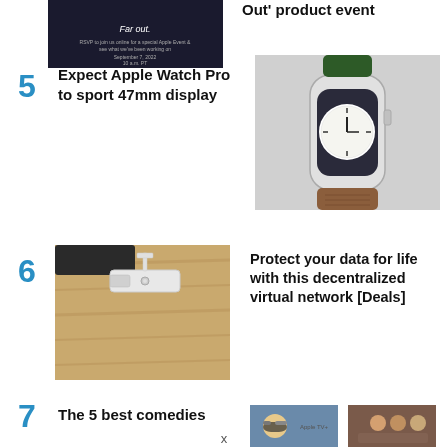[Figure (photo): Dark background 'Far out.' Apple event invitation image, partially visible at top]
Out' product event
5 Expect Apple Watch Pro to sport 47mm display
[Figure (photo): Apple Watch with green and brown leather link band on grey background]
6 Protect your data for life with this decentralized virtual network [Deals]
[Figure (photo): White USB stick or dongle on wooden surface next to a dark device]
7 The 5 best comedies ...
[Figure (photo): Small thumbnail showing person with sunglasses and Apple TV+ logo]
[Figure (photo): Small thumbnail showing group of people]
x